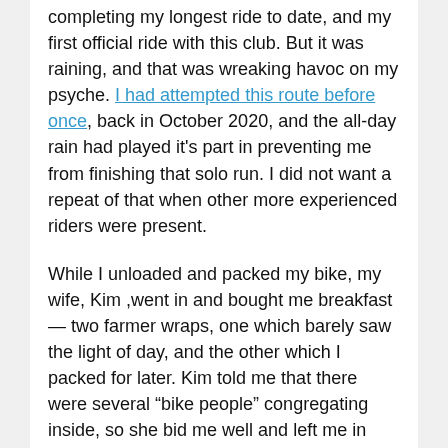completing my longest ride to date, and my first official ride with this club. But it was raining, and that was wreaking havoc on my psyche. I had attempted this route before once, back in October 2020, and the all-day rain had played it's part in preventing me from finishing that solo run. I did not want a repeat of that when other more experienced riders were present.
While I unloaded and packed my bike, my wife, Kim ,went in and bought me breakfast — two farmer wraps, one which barely saw the light of day, and the other which I packed for later. Kim told me that there were several "bike people" congregating inside, so she bid me well and left me in their capable hands.
I sat among the crowd of folks wearing brightly coloured vests amid rain gear. While I introduced myself, many of them were reuniting after not having seen one-another for some time; this being one of the first brevets since the pandemic lockdowns had been lifted. Being in a group was putting my mind at ease. After a group photo, we